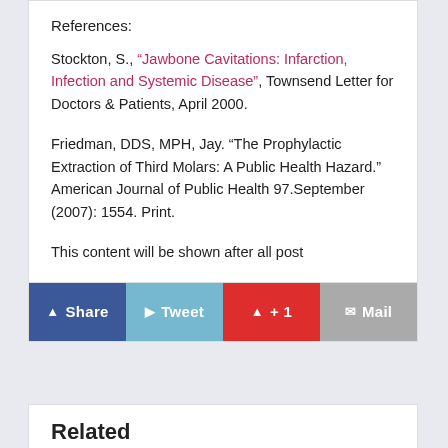References:
Stockton, S., “Jawbone Cavitations: Infarction, Infection and Systemic Disease”, Townsend Letter for Doctors & Patients, April 2000.
Friedman, DDS, MPH, Jay. “The Prophylactic Extraction of Third Molars: A Public Health Hazard.” American Journal of Public Health 97.September (2007): 1554. Print.
This content will be shown after all post
Related